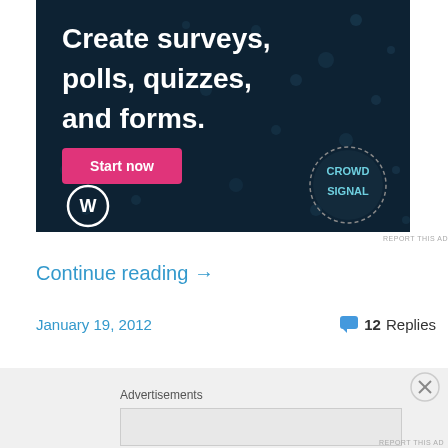[Figure (advertisement): Dark navy blue advertisement banner for Crowdsignal showing 'Create surveys, polls, quizzes, and forms.' with a pink 'Start now' button, WordPress logo bottom-left, and Crowdsignal circular badge bottom-right]
REPORT THIS AD
Continue reading →
January 19, 2012
12 Replies
Advertisements
REPORT THIS AD